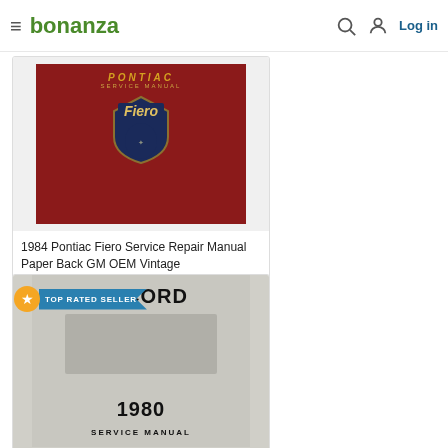bonanza — Log in
[Figure (photo): Red Pontiac Fiero Service Manual book cover with gold Fiero badge/emblem]
1984 Pontiac Fiero Service Repair Manual Paper Back GM OEM Vintage
$26.68
[Figure (photo): Gray Honda Accord 1980 Service Manual book cover]
TOP RATED SELLER